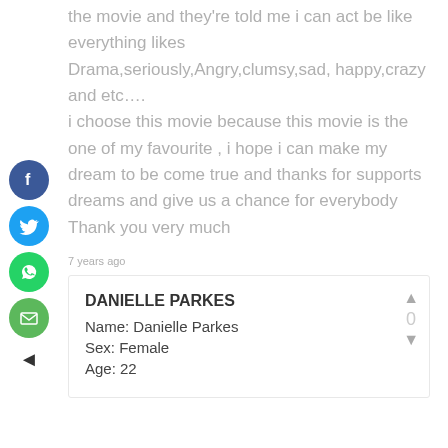the movie and they're told me i can act be like everything likes Drama,seriously,Angry,clumsy,sad, happy,crazy and etc…. i choose this movie because this movie is the one of my favourite , i hope i can make my dream to be come true and thanks for supports dreams and give us a chance for everybody Thank you very much
7 years ago
DANIELLE PARKES
Name: Danielle Parkes
Sex: Female
Age: 22